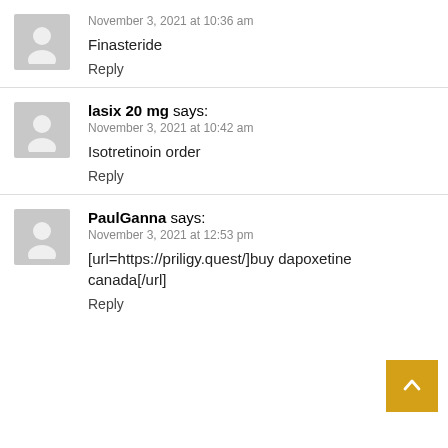November 3, 2021 at 10:36 am
Finasteride
Reply
lasix 20 mg says:
November 3, 2021 at 10:42 am
Isotretinoin order
Reply
PaulGanna says:
November 3, 2021 at 12:53 pm
[url=https://priligy.quest/]buy dapoxetine canada[/url]
Reply